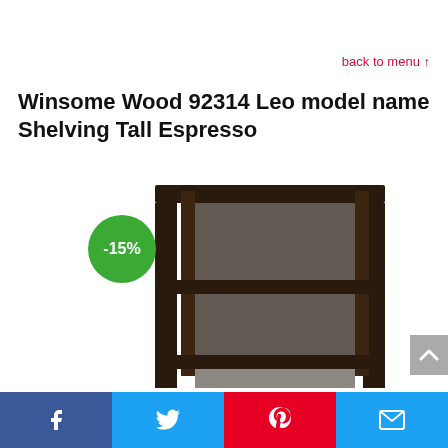back to menu ↑
Winsome Wood 92314 Leo model name Shelving Tall Espresso
[Figure (photo): Dark espresso wood shelving unit with three tiers and open sides, tall and narrow design. A green circular badge showing -15% discount is overlaid on the left side of the image.]
Facebook | Twitter | Pinterest | Email